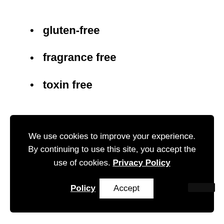gluten-free
fragrance free
toxin free
We use cookies to improve your experience. By continuing to use this site, you accept the use of cookies. Privacy Policy  Accept